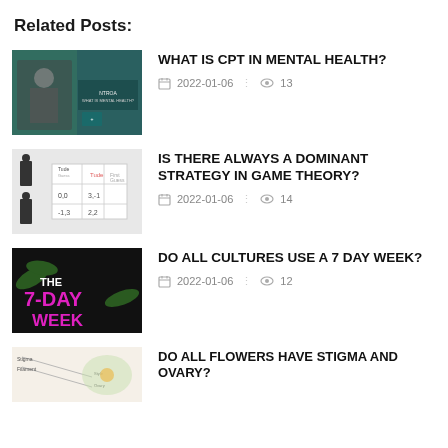Related Posts:
[Figure (photo): Thumbnail of a person in a suit with NTROA text overlay on dark teal background]
WHAT IS CPT IN MENTAL HEALTH?
2022-01-06   13
[Figure (photo): Thumbnail showing a game theory payoff matrix with figures]
IS THERE ALWAYS A DOMINANT STRATEGY IN GAME THEORY?
2022-01-06   14
[Figure (photo): Thumbnail with pink and black text reading THE 7-DAY WEEK]
DO ALL CULTURES USE A 7 DAY WEEK?
2022-01-06   12
[Figure (photo): Thumbnail showing flower parts diagram]
DO ALL FLOWERS HAVE STIGMA AND OVARY?